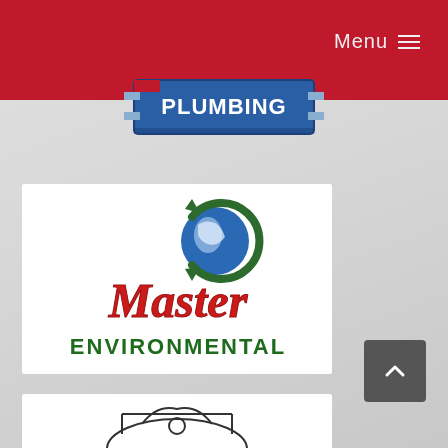Menu ☰
[Figure (logo): Plumbing logo with blue text PLUMBING on a badge/sign shape with red accent]
[Figure (logo): Master Environmental logo: red cursive 'Master' text with dark green globe recycle icon and dark green 'ENVIRONMENTAL' text below]
[Figure (logo): Partial bottom logo showing what appears to be a mechanical/plumbing illustration in black and white]